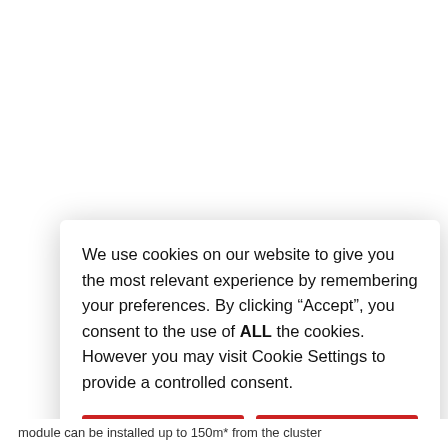We use cookies on our website to give you the most relevant experience by remembering your preferences. By clicking “Accept”, you consent to the use of ALL the cookies. However you may visit Cookie Settings to provide a controlled consent.
CHANGE SETTINGS
ACCEPT
module can be installed up to 150m* from the cluster